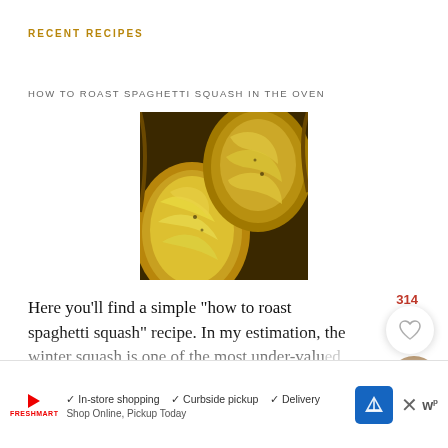RECENT RECIPES
HOW TO ROAST SPAGHETTI SQUASH IN THE OVEN
[Figure (photo): Close-up photo of roasted spaghetti squash halves with stringy yellow flesh visible]
Here you’ll find a simple “how to roast spaghetti squash” recipe. In my estimation, the winter squash is one of the most under-valued side dishes around. Brush with some olive oil and
[Figure (other): Advertisement banner with in-store shopping, curbside pickup, delivery options, map/navigation icon, close button, and sponsor logos]